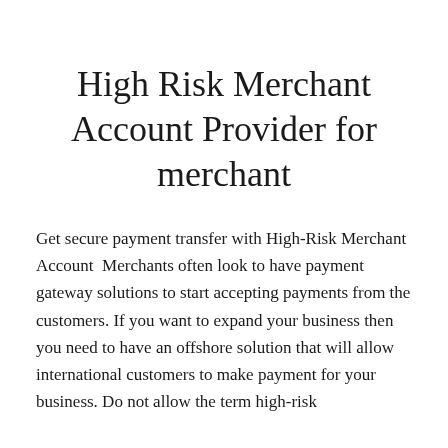High Risk Merchant Account Provider for merchant
Get secure payment transfer with High-Risk Merchant Account  Merchants often look to have payment gateway solutions to start accepting payments from the customers. If you want to expand your business then you need to have an offshore solution that will allow international customers to make payment for your business. Do not allow the term high-risk